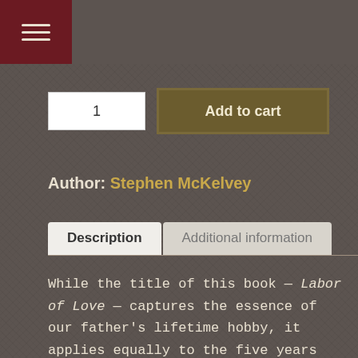[Figure (screenshot): Hamburger menu icon in dark red/maroon box at top left]
1   Add to cart
Author: Stephen McKelvey
Description   Additional information
While the title of this book — Labor of Love — captures the essence of our father's lifetime hobby, it applies equally to the five years spent cataloging thousands of autographed baseball items — auctioned off over almost two years by Heritage Auctions — to determine those which would be most fascinating to baseball fans and collectors of